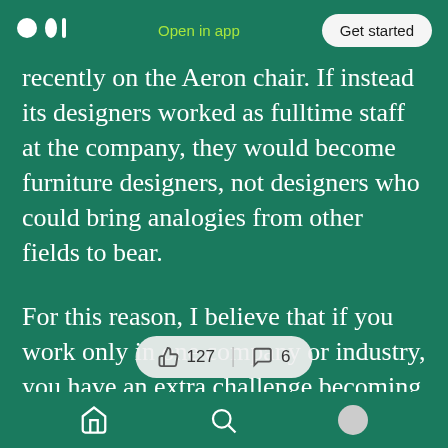Open in app | Get started
recently on the Aeron chair. If instead its designers worked as fulltime staff at the company, they would become furniture designers, not designers who could bring analogies from other fields to bear.
For this reason, I believe that if you work only in one company or industry, you have an extra challenge becoming a great strategist. If you have that singular experience, it is really important to seek out the raw materials for analogy by studying far-flung industries. Otherwise, you will be drawn to
127 claps | 6 comments | Home | Search | Profile